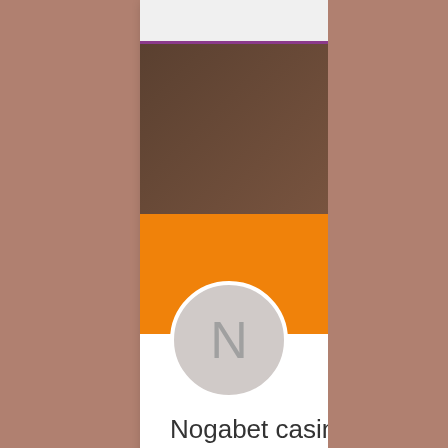Join us on the WiX app
[Figure (screenshot): Website header with dark brown background, circular logo stamp in teal/green, and hamburger menu icon in teal]
[Figure (screenshot): Orange profile banner with Follow button and three-dot menu, circular avatar with letter N]
Nogabet casino new player n...
0 Followers • 0 Following
Profile